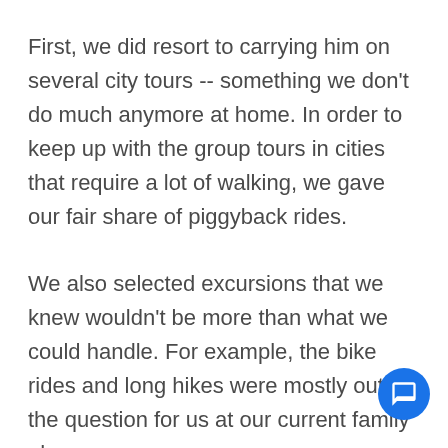First, we did resort to carrying him on several city tours -- something we don't do much anymore at home. In order to keep up with the group tours in cities that require a lot of walking, we gave our fair share of piggyback rides.
We also selected excursions that we knew wouldn't be more than what we could handle. For example, the bike rides and long hikes were mostly out of the question for us at our current family phase.